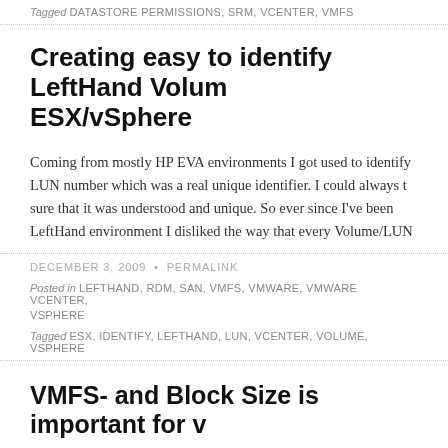Tagged DATASTORE PERMISSIONS, SRM, VCENTER, VMFS
Creating easy to identify LeftHand Volumes in ESX/vSphere
Coming from mostly HP EVA environments I got used to identify LUN number which was a real unique identifier. I could always sure that it was understood and unique. So ever since I've been LeftHand environment I disliked the way that every Volume/LUN
DECEMBER 3, 2009 • PERMALINK
Posted in LEFTHAND, RDM, SAN, VMFS, VMWARE, VMWARE VCENTER, VSPHERE
Tagged ESX, IDENTIFY, LEFTHAND, LUN, VCENTER, VOLUME, VSPHERE
VMFS- and Block Size is important for v